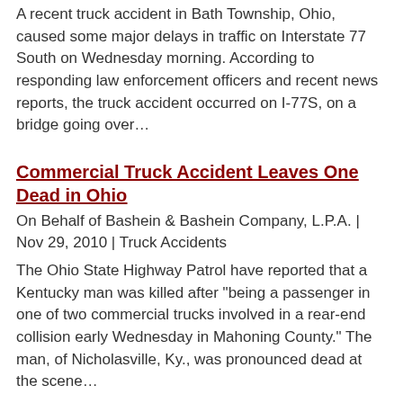A recent truck accident in Bath Township, Ohio, caused some major delays in traffic on Interstate 77 South on Wednesday morning. According to responding law enforcement officers and recent news reports, the truck accident occurred on I-77S, on a bridge going over…
Commercial Truck Accident Leaves One Dead in Ohio
On Behalf of Bashein & Bashein Company, L.P.A. | Nov 29, 2010 | Truck Accidents
The Ohio State Highway Patrol have reported that a Kentucky man was killed after "being a passenger in one of two commercial trucks involved in a rear-end collision early Wednesday in Mahoning County." The man, of Nicholasville, Ky., was pronounced dead at the scene…
Ohio Truck Drivers Protected Against